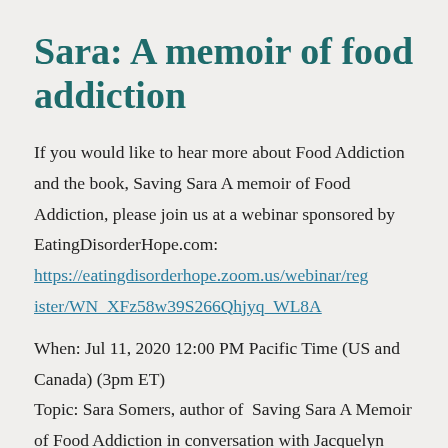Sara: A memoir of food addiction
If you would like to hear more about Food Addiction and the book, Saving Sara A memoir of Food Addiction, please join us at a webinar sponsored by EatingDisorderHope.com: https://eatingdisorderhope.zoom.us/webinar/register/WN_XFz58w39S266Qhjyq_WL8A
When: Jul 11, 2020 12:00 PM Pacific Time (US and Canada) (3pm ET)
Topic: Sara Somers, author of Saving Sara A Memoir of Food Addiction in conversation with Jacquelyn Ekern of Eating Disorders Hope